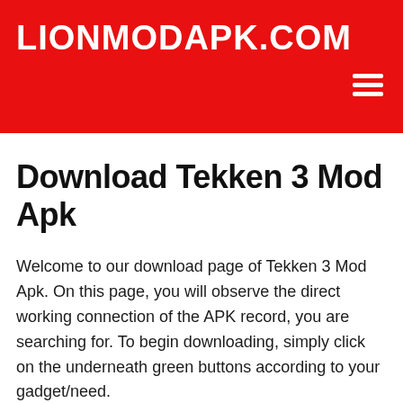LIONMODAPK.COM
Download Tekken 3 Mod Apk
Welcome to our download page of Tekken 3 Mod Apk. On this page, you will observe the direct working connection of the APK record, you are searching for. To begin downloading, simply click on the underneath green buttons according to your gadget/need.